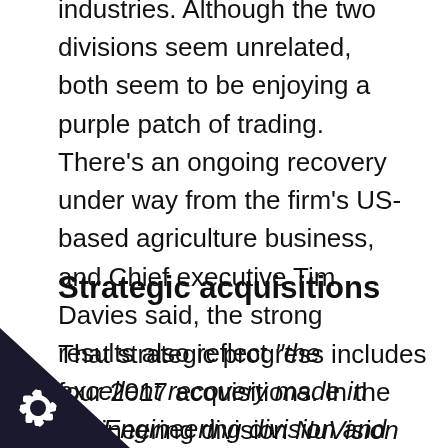industries. Although the two divisions seem unrelated, both seem to be enjoying a purple patch of trading. There's an ongoing recovery under way from the firm's US-based agriculture business, and Chief executive Tim Davies said, the strong results also reflect "the excellent recovery made in our Engineering division and builds upon the strategic progress made during the last year."
Strategic acquisitions
That strategic progress includes four 2017 acquisitions. In the engineering division NuVision Engineering, a US-based technology and applications engineering company focused on
[Figure (illustration): Black triangle badge in bottom-left corner with a white gear/cog icon]